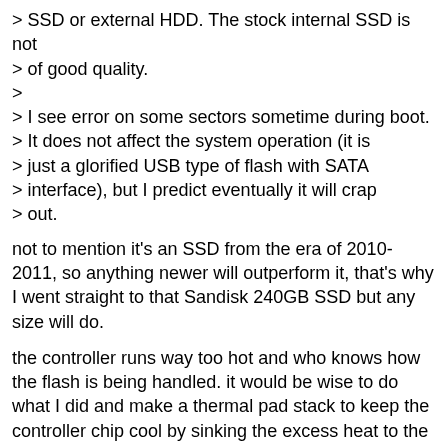> SSD or external HDD. The stock internal SSD is not
> of good quality.
>
> I see error on some sectors sometime during boot.
> It does not affect the system operation (it is
> just a glorified USB type of flash with SATA
> interface), but I predict eventually it will crap
> out.
not to mention it's an SSD from the era of 2010-2011, so anything newer will outperform it, that's why I went straight to that Sandisk 240GB SSD but any size will do.
the controller runs way too hot and who knows how the flash is being handled. it would be wise to do what I did and make a thermal pad stack to keep the controller chip cool by sinking the excess heat to the motherboard (completely safe albeit inefficient) and see if that helps things along with any experienced errors... more than likely it's just the controller overheating.
stock SSD also has no DRAM cache as previously said. Any newer name-brand SSD with any amount of cache RAM onboard will increase transfer speeds by a factor of about 3 times and be much more reliable.